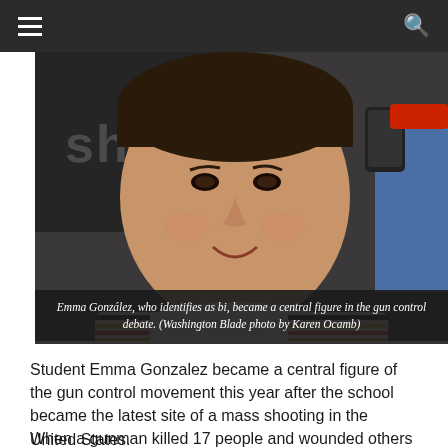☰  Q
[Figure (photo): Young person with short dark hair smiling, wearing a striped shirt, photographed indoors. Watermark reads 'Los Angeles Blade | Karen Ocamb']
Emma González, who identifies as bi, became a central figure in the gun control debate. (Washington Blade photo by Karen Ocamb)
Student Emma Gonzalez became a central figure of the gun control movement this year after the school became the latest site of a mass shooting in the United States.
When a gunman killed 17 people and wounded others at Stoneman Douglas High School, Gonzalez and other survivors